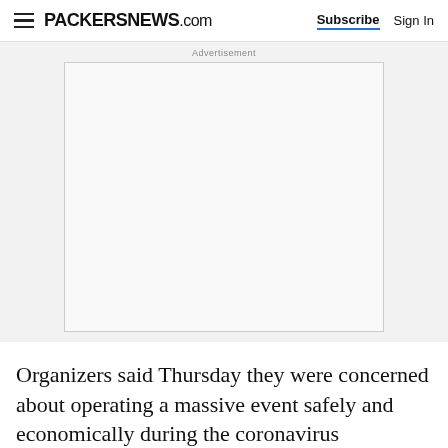PACKERSNEWS.com | Subscribe | Sign In
[Figure (other): Advertisement placeholder box on a light gray background]
Organizers said Thursday they were concerned about operating a massive event safely and economically during the coronavirus pandemic.